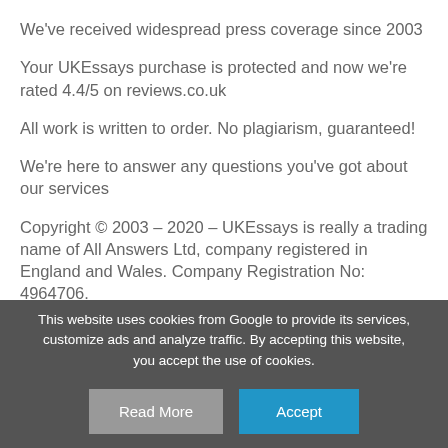We've received widespread press coverage since 2003
Your UKEssays purchase is protected and now we're rated 4.4/5 on reviews.co.uk
All work is written to order. No plagiarism, guaranteed!
We're here to answer any questions you've got about our services
Copyright © 2003 – 2020 – UKEssays is really a trading name of All Answers Ltd, company registered in England and Wales. Company Registration No: 4964706.
This website uses cookies from Google to provide its services, customize ads and analyze traffic. By accepting this website, you accept the use of cookies.